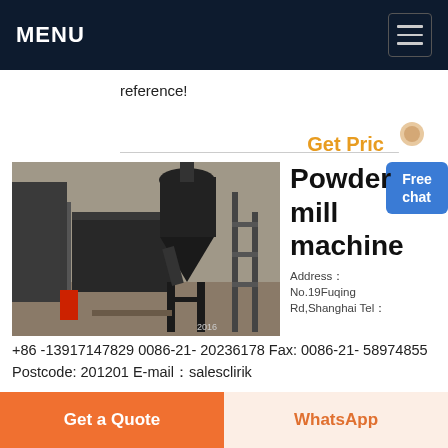MENU
reference!
Get Price
[Figure (photo): Powder mill machine industrial equipment at an outdoor site, showing a cyclone dust collector and metal framework structure.]
Powder mill machine
Address： No.19Fuqing Rd,Shanghai Tel： +86 -13917147829 0086-21- 20236178 Fax: 0086-21- 58974855 Postcode: 201201 E-mail：salesclirik
Get a Quote   WhatsApp